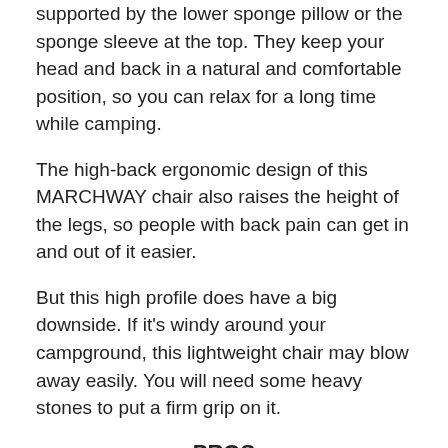supported by the lower sponge pillow or the sponge sleeve at the top. They keep your head and back in a natural and comfortable position, so you can relax for a long time while camping.
The high-back ergonomic design of this MARCHWAY chair also raises the height of the legs, so people with back pain can get in and out of it easier.
But this high profile does have a big downside. If it's windy around your campground, this lightweight chair may blow away easily. You will need some heavy stones to put a firm grip on it.
PROS
This chair is ultra-lightweight at 3.7 pounds.
It's made from durable